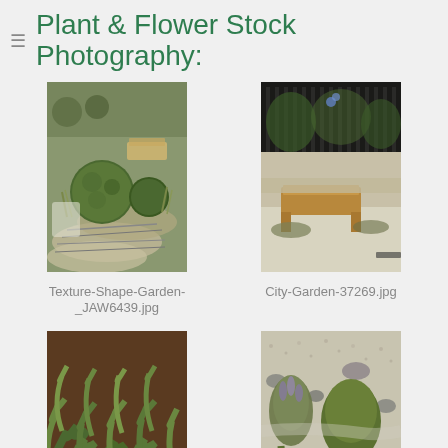Plant & Flower Stock Photography:
[Figure (photo): Garden photograph showing round topiary shrubs on decorative cobblestone circular patterns, with ornamental grasses and a lounger chair in the background]
Texture-Shape-Garden-_JAW6439.jpg
[Figure (photo): City garden photograph showing a wooden bench in a paved courtyard garden with wrought iron fencing and lavender planting against a wall]
City-Garden-37269.jpg
[Figure (photo): Close-up photograph of lush green fern plants growing in a shaded garden bed with brown soil]
[Figure (photo): Gravel garden photograph showing lavender and decorative plants growing between gravel paths with rocks]